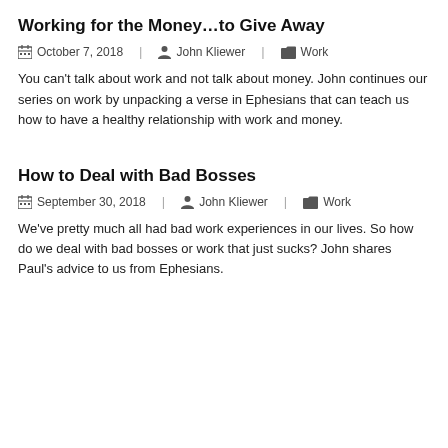Working for the Money…to Give Away
October 7, 2018   John Kliewer   Work
You can't talk about work and not talk about money. John continues our series on work by unpacking a verse in Ephesians that can teach us how to have a healthy relationship with work and money.
How to Deal with Bad Bosses
September 30, 2018   John Kliewer   Work
We've pretty much all had bad work experiences in our lives. So how do we deal with bad bosses or work that just sucks? John shares Paul's advice to us from Ephesians.